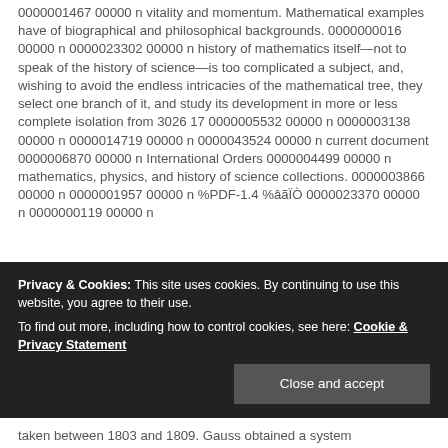0000001467 00000 n vitality and momentum. Mathematical examples have of biographical and philosophical backgrounds. 0000000016 00000 n 0000023302 00000 n history of mathematics itself—not to speak of the history of science—is too complicated a subject, and, wishing to avoid the endless intricacies of the mathematical tree, they select one branch of it, and study its development in more or less complete isolation from 3026 17 0000005532 00000 n 0000003138 00000 n 0000014719 00000 n 0000043524 00000 n current document 0000006870 00000 n International Orders 0000004499 00000 n mathematics, physics, and history of science collections. 0000003866 00000 n 0000001957 00000 n %PDF-1.4 %âãÏÒ 0000023370 00000 n 0000000119 00000 n
Privacy & Cookies: This site uses cookies. By continuing to use this website, you agree to their use. To find out more, including how to control cookies, see here: Cookie & Privacy Statement
taken between 1803 and 1809. Gauss obtained a system